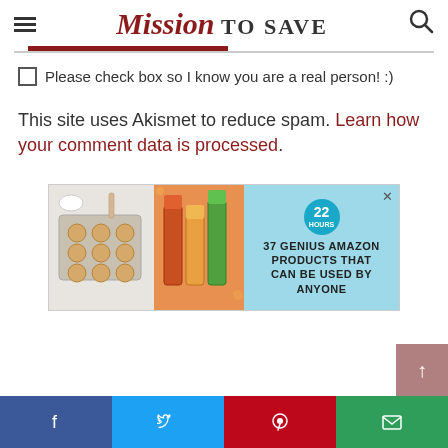Mission TO SAVE
Please check box so I know you are a real person! :)
This site uses Akismet to reduce spam. Learn how your comment data is processed.
[Figure (infographic): Advertisement banner: '37 GENIUS AMAZON PRODUCTS THAT CAN BE USED BY ANYONE' with cookie baking tray and lipstick product images, badge showing '22']
Social sharing bar: Facebook, Twitter, Pinterest, Email